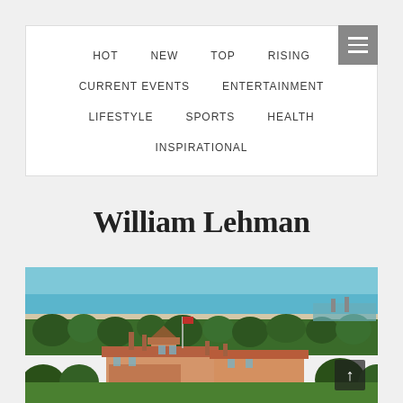HOT  NEW  TOP  RISING  CURRENT EVENTS  ENTERTAINMENT  LIFESTYLE  SPORTS  HEALTH  INSPIRATIONAL
William Lehman
[Figure (photo): Aerial photograph of a coastal estate (Mar-a-Lago style property) with red-tiled roofs surrounded by palm trees, with ocean/beach visible in the background.]